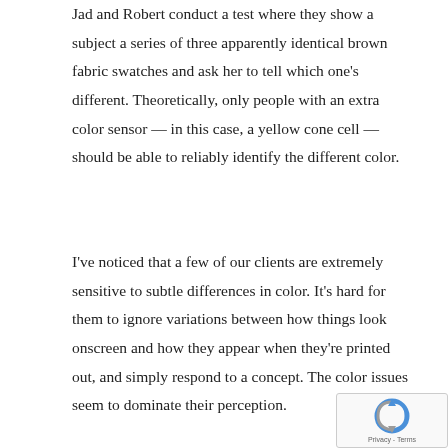Jad and Robert conduct a test where they show a subject a series of three apparently identical brown fabric swatches and ask her to tell which one's different. Theoretically, only people with an extra color sensor — in this case, a yellow cone cell — should be able to reliably identify the different color.
I've noticed that a few of our clients are extremely sensitive to subtle differences in color. It's hard for them to ignore variations between how things look onscreen and how they appear when they're printed out, and simply respond to a concept. The color issues seem to dominate their perception.
[Figure (other): reCAPTCHA widget with blue/grey icon and 'Privacy - Terms' text]